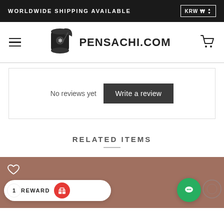WORLDWIDE SHIPPING AVAILABLE   KRW ₩
[Figure (logo): Pensachi.com logo with scroll and quill icon]
No reviews yet
Write a review
RELATED ITEMS
[Figure (photo): Brown/mauve product image card with heart icon, reward widget showing badge '1' and REWARD label with red button, and green chat button]